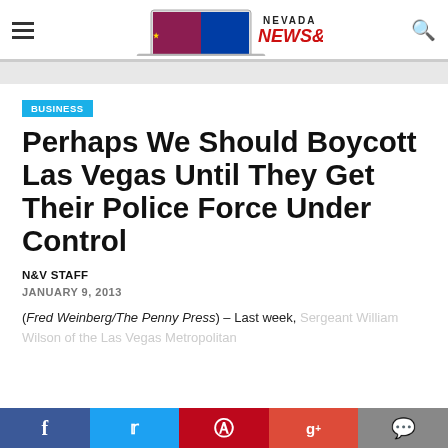Nevada News & Views
BUSINESS
Perhaps We Should Boycott Las Vegas Until They Get Their Police Force Under Control
N&V STAFF
JANUARY 9, 2013
(Fred Weinberg/The Penny Press) – Last week, Sergeant William Wilson of the Las Vegas Metropolitan...
f  Twitter  Pinterest  g+  Comment